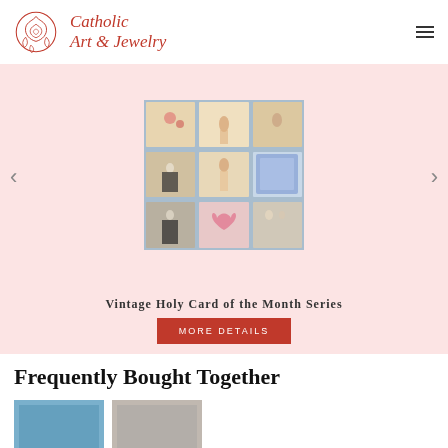[Figure (logo): Catholic Art & Jewelry logo with red rose illustration and italic text]
[Figure (photo): Collage of vintage holy cards arranged in a 3x3 grid on blue background, showing religious figures, saints, nuns, and floral decorations]
Vintage Holy Card of the Month Series
MORE DETAILS
Frequently Bought Together
[Figure (photo): Small product thumbnail image (blue/teal background)]
[Figure (photo): Small product thumbnail image (gray background)]